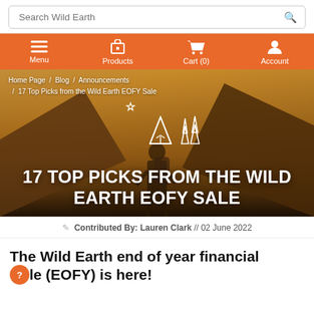Search Wild Earth
Menu / Products / Cart (0) / Account
[Figure (screenshot): Hero image of a hiker with a backpack against a mountain backdrop, with camping/outdoor icons (tent, trees, star) overlaid. Bold white text reads: 17 TOP PICKS FROM THE WILD EARTH EOFY SALE]
Home Page / Blog / Announcements / 17 Top Picks from the Wild Earth EOFY Sale
17 TOP PICKS FROM THE WILD EARTH EOFY SALE
Contributed By: Lauren Clark // 02 June 2022
The Wild Earth end of year financial sale (EOFY) is here!